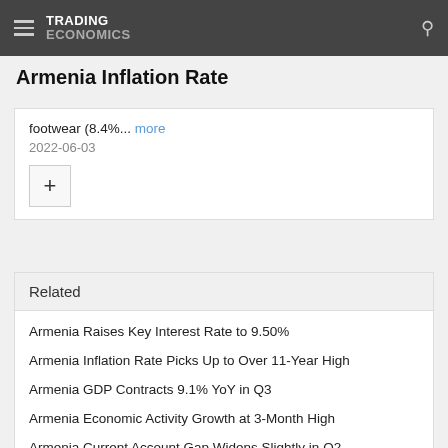TRADING ECONOMICS
Armenia Inflation Rate
footwear (8.4%... more
2022-06-03
Related
Armenia Raises Key Interest Rate to 9.50%
Armenia Inflation Rate Picks Up to Over 11-Year High
Armenia GDP Contracts 9.1% YoY in Q3
Armenia Economic Activity Growth at 3-Month High
Armenia Current Account Gap Widens Slightly in Q2
Moody's Lifts Armenia's Rating to Ba3, Outlook Stable